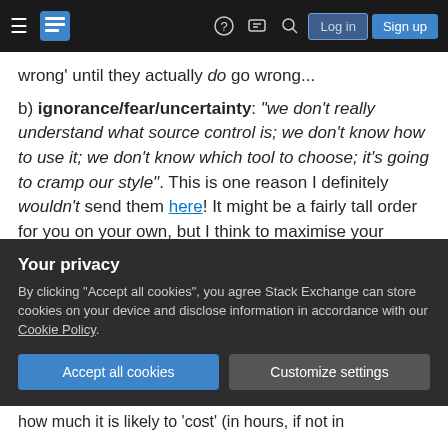Stack Exchange navigation bar with hamburger menu, logo, help, chat, search icons, Log in and Sign up buttons
wrong' until they actually do go wrong...
b) ignorance/fear/uncertainty: "we don't really understand what source control is; we don't know how to use it; we don't know which tool to choose; it's going to cramp our style". This is one reason I definitely wouldn't send them here! It might be a fairly tall order for you on your own, but I think to maximise your chances you need to present a 'turn-key' solution, and not too many variants or alternatives. You need a clear idea of: how you want to fit/transform
Your privacy
By clicking "Accept all cookies", you agree Stack Exchange can store cookies on your device and disclose information in accordance with our Cookie Policy.
Accept all cookies
Customize settings
how much it is likely to 'cost' (in hours, if not in